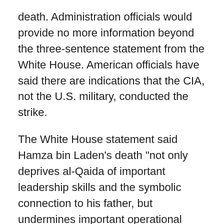death. Administration officials would provide no more information beyond the three-sentence statement from the White House. American officials have said there are indications that the CIA, not the U.S. military, conducted the strike.
The White House statement said Hamza bin Laden's death "not only deprives al-Qaida of important leadership skills and the symbolic connection to his father, but undermines important operational activities of the group." It said Osama bin Laden's son "was responsible for planning and dealing with various terrorist groups."
The U.S. officials had suspected this summer that Hamza bin Laden was dead, based on intelligence reports and the fact that he had not been heard from